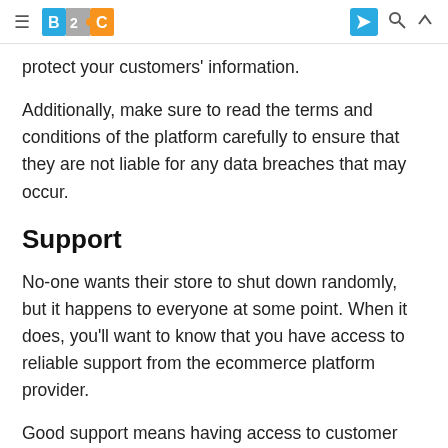B2C [logo]
protect your customers' information.
Additionally, make sure to read the terms and conditions of the platform carefully to ensure that they are not liable for any data breaches that may occur.
Support
No-one wants their store to shut down randomly, but it happens to everyone at some point. When it does, you'll want to know that you have access to reliable support from the ecommerce platform provider.
Good support means having access to customer service representatives who are knowledgeable about the platform and can help you resolve any technical issues quickly and